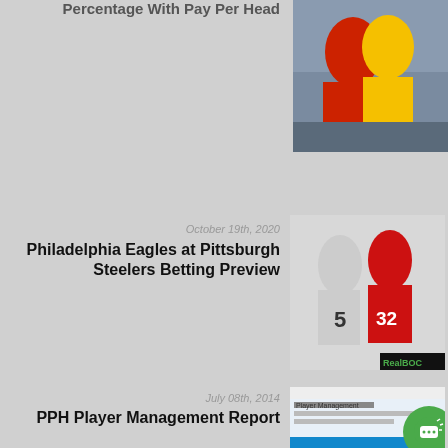Percentage With Pay Per Head
[Figure (photo): Football players in action, 49ers vs Rams]
October 19th, 2020
Philadelphia Eagles at Pittsburgh Steelers Betting Preview
[Figure (photo): Two American football players celebrating, RealBOC logo, jersey numbers 5 and 32]
December 27th, 2020
Benefit From Real Bookies Pay Per Head Business Model
[Figure (photo): Man in suit holding cash fan, RealBOOKIES logo, money background]
July 08th, 2014
PPH Player Management Report
[Figure (screenshot): Screenshot of PPH Player Management interface]